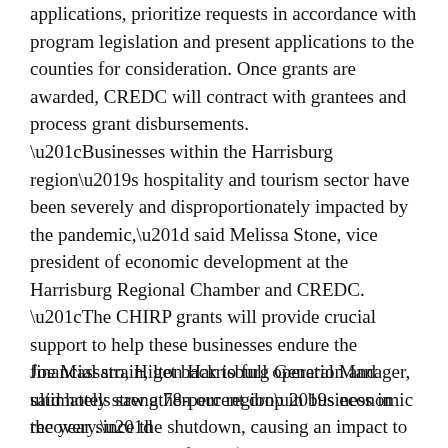applications, prioritize requests in accordance with program legislation and present applications to the counties for consideration. Once grants are awarded, CREDC will contract with grantees and process grant disbursements.
“Businesses within the Harrisburg region’s hospitality and tourism sector have been severely and disproportionately impacted by the pandemic,” said Melissa Stone, vice president of economic development at the Harrisburg Regional Chamber and CREDC. “The CHIRP grants will provide crucial support to help these businesses endure the financial strain, get back to full operation and ultimately strengthen our region’s economic recovery.”
Joe Massaro, Hilton Harrisburg General Manager, said hotels saw a 78-percent drop in business in the year since the shutdown, causing an impact to the local economy of over $1.2 billion.